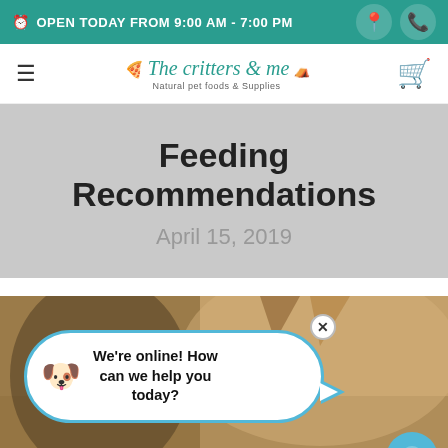OPEN TODAY FROM 9:00 AM - 7:00 PM
[Figure (logo): The Critters & me — Natural pet foods & Supplies logo with teal text and pet illustrations]
Feeding Recommendations
April 15, 2019
[Figure (photo): Close-up photo of a dog and cat together, with a live chat popup bubble overlay reading: We're online! How can we help you today?]